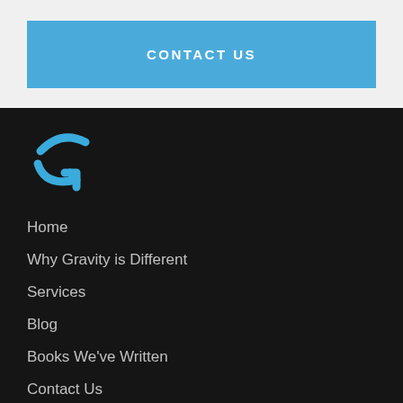CONTACT US
[Figure (logo): Gravity logo: two blue curved arc shapes forming a stylized G symbol]
Home
Why Gravity is Different
Services
Blog
Books We've Written
Contact Us